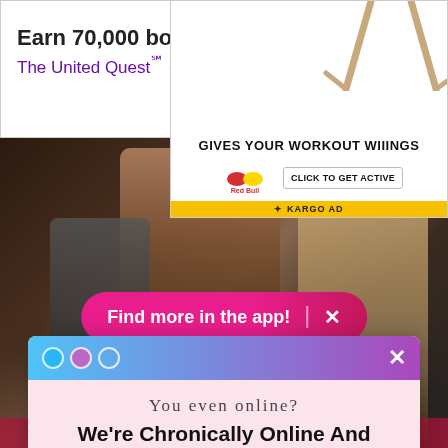[Figure (screenshot): United Quest card advertisement banner: 'Earn 70,000 bonus miles / The United Quest℠ Card / Learn more >']
[Figure (screenshot): Red Bull advertisement: 'GIVES YOUR WORKOUT WIIINGS' with Red Bull logo and 'CLICK TO GET ACTIVE' button, KARGO AD label]
[Figure (photo): Background photo of people at a red carpet event]
Find more in the app! ×
[Figure (screenshot): Newsletter modal popup with gradient header, dots and close button]
You even online?
We're Chronically Online And Saw It On TikTok First!
Join our newsletter 👇
Email address
Sign Me Up!
No Thanks